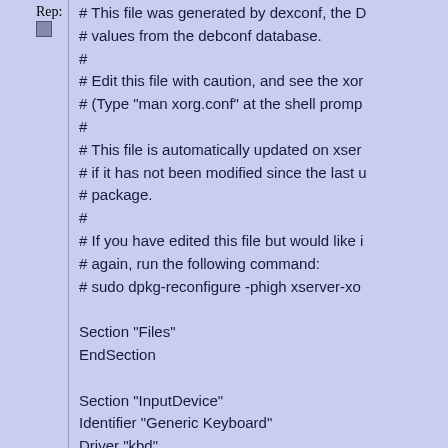Rep:
# This file was generated by dexconf, the D
# values from the debconf database.
#
# Edit this file with caution, and see the xor
# (Type "man xorg.conf" at the shell promp
#
# This file is automatically updated on xser
# if it has not been modified since the last u
# package.
#
# If you have edited this file but would like i
# again, run the following command:
# sudo dpkg-reconfigure -phigh xserver-xo

Section "Files"
EndSection

Section "InputDevice"
Identifier "Generic Keyboard"
Driver "kbd"
Option "CoreKeyboard"
Option "XkbRules" "xorg"
Option "XkbModel" "pc105"
Option "XkbLayout" "us"
EndSection

Section "InputDevice"
Identifier "Configured Mouse"
Driver "mouse"
Option "CorePointer"